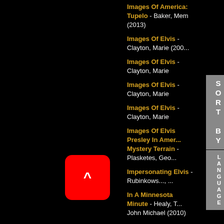Images Of America: Tupelo - Baker, Mem (2013)
Images Of Elvis - Clayton, Marie (200...)
Images Of Elvis - Clayton, Marie
Images Of Elvis - Clayton, Marie
Images Of Elvis - Clayton, Marie
Images Of Elvis Presley In Amer... Mystery Terrain - Plasketes, Geo...
Impersonating Elvis - Rubinkows..., ...
In A Minnesota Minute - Healy, T... John Michael (2010)
In Search Of Elvis: A Fact-Filled... Brown, Hal ; Sales, Rick (1992) (*)
In Search Of Elvis: A Journey To... Jumpsuit - Connelly, Charlie (200...)
In Search Of Elvis: A Journey To Fi... Jumpsuit - Connelly, Charlie (2008)
[Figure (other): Red rounded rectangle button with white caret symbol (^) on black background]